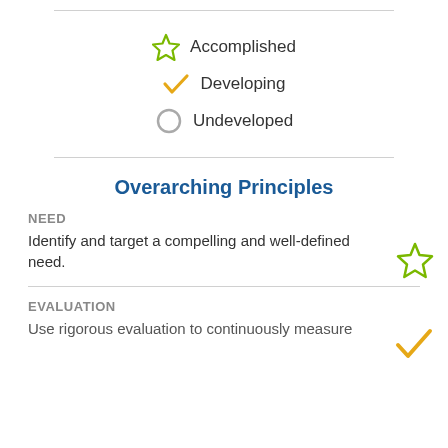Accomplished
Developing
Undeveloped
Overarching Principles
NEED
Identify and target a compelling and well-defined need.
EVALUATION
Use rigorous evaluation to continuously measure...